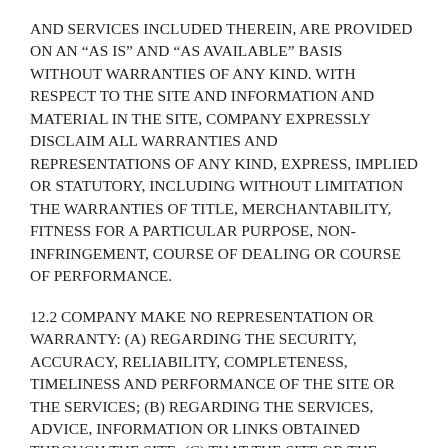AND SERVICES INCLUDED THEREIN, ARE PROVIDED ON AN “AS IS” AND “AS AVAILABLE” BASIS WITHOUT WARRANTIES OF ANY KIND. WITH RESPECT TO THE SITE AND INFORMATION AND MATERIAL IN THE SITE, COMPANY EXPRESSLY DISCLAIM ALL WARRANTIES AND REPRESENTATIONS OF ANY KIND, EXPRESS, IMPLIED OR STATUTORY, INCLUDING WITHOUT LIMITATION THE WARRANTIES OF TITLE, MERCHANTABILITY, FITNESS FOR A PARTICULAR PURPOSE, NON-INFRINGEMENT, COURSE OF DEALING OR COURSE OF PERFORMANCE.
12.2 COMPANY MAKE NO REPRESENTATION OR WARRANTY: (A) REGARDING THE SECURITY, ACCURACY, RELIABILITY, COMPLETENESS, TIMELINESS AND PERFORMANCE OF THE SITE OR THE SERVICES; (B) REGARDING THE SERVICES, ADVICE, INFORMATION OR LINKS OBTAINED THROUGH THE SITE; (C) THAT THE SITE OR THE SERVICES, OR ANY INFORMATION AND MATERIALS THEREIN, WILL MEET YOUR REQUIREMENTS; (D) THAT THE SITE OR THE SERVICES, OR ANY FUNCTIONS CONTAINED IN THE SITE, WILL BE